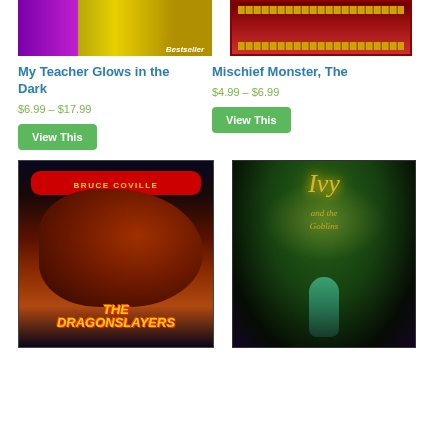[Figure (photo): Book cover top portion of 'My Teacher Glows in the Dark' by Bruce Coville, showing yellow/gold colors]
[Figure (photo): Book cover top portion of 'Mischief Monster, The', showing red/dark decorative border]
My Teacher Glows in the Dark
$6.99 – $17.99
View This
Mischief Monster, The
$4.99 – $6.99
View This
[Figure (photo): Book cover of 'The Dragonslayers' by Bruce Coville, showing a dragon with red banner at top and stylized yellow title text]
[Figure (photo): Book cover of 'Ivy and the Goblins', showing a girl with magical glowing forest background and golden title text]